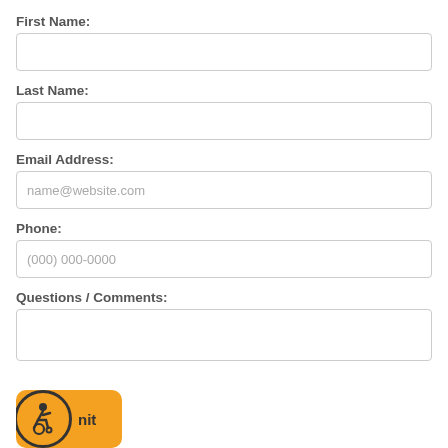First Name:
Last Name:
Email Address:
Phone:
Questions / Comments:
[Figure (illustration): Orange circular accessibility icon (wheelchair user symbol) on an orange rounded rectangle button labeled 'nit' (submit button)]